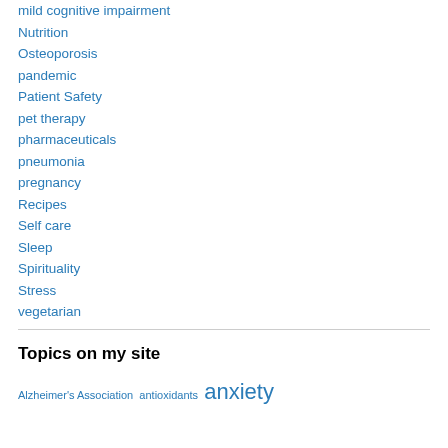mild cognitive impairment
Nutrition
Osteoporosis
pandemic
Patient Safety
pet therapy
pharmaceuticals
pneumonia
pregnancy
Recipes
Self care
Sleep
Spirituality
Stress
vegetarian
Topics on my site
Alzheimer's Association antioxidants anxiety